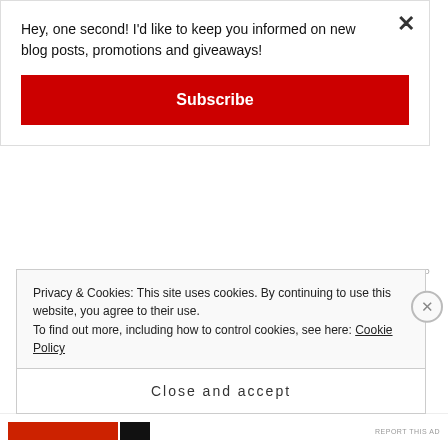Hey, one second! I'd like to keep you informed on new blog posts, promotions and giveaways!
Subscribe
[Figure (screenshot): Partial ad banner showing text: The Platform Where WordPress Works Best with a blue SEE PRICING button]
Privacy & Cookies: This site uses cookies. By continuing to use this website, you agree to their use.
To find out more, including how to control cookies, see here: Cookie Policy
Close and accept